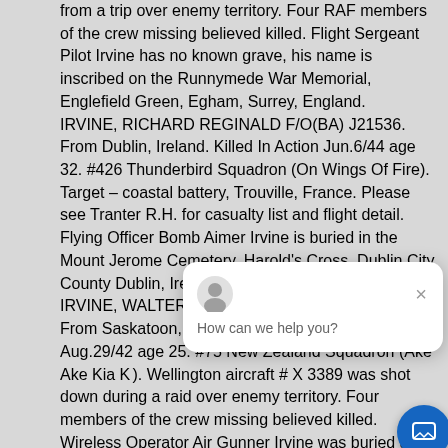from a trip over enemy territory. Four RAF members of the crew missing believed killed. Flight Sergeant Pilot Irvine has no known grave, his name is inscribed on the Runnymede War Memorial, Englefield Green, Egham, Surrey, England. IRVINE, RICHARD REGINALD F/O(BA) J21536. From Dublin, Ireland. Killed In Action Jun.6/44 age 32. #426 Thunderbird Squadron (On Wings Of Fire). Target – coastal battery, Trouville, France. Please see Tranter R.H. for casualty list and flight detail. Flying Officer Bomb Aimer Irvine is buried in the Mount Jerome Cemetery, Harold's Cross, Dublin City, County Dublin, Ireland. IRVINE, WALTER HARRISON FS(WAG) R75436. From Saskatoon, Saskatchewan. Killed In Action Aug.29/42 age 25. #75 New Zealand Squadron (Ake Ake Kia Kaha). Wellington aircraft # X 3389 was shot down during a raid over enemy territory. Four members of the crew missing believed killed. Wireless Operator Air Gunner Irvine was buried at Frankfurt, exhumed, and reburied in the War Cemetery at Durnbach, Germany. IRVING, ALLISTER NELSON SGT(WAG) R65177. From Pictou, Nova Scotia. Killed In Action Oct.26/41 age 22. #40 Squadron
[Figure (screenshot): Chat widget popup showing avatar icon, close button (×), and text 'How can we help you?']